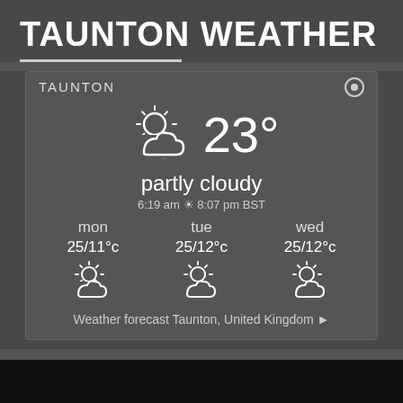TAUNTON WEATHER
[Figure (screenshot): Weather widget showing Taunton weather. Current: partly cloudy, 23°, sunrise 6:19 am, sunset 8:07 pm BST. Forecast: mon 25/11°C partly cloudy, tue 25/12°C partly cloudy, wed 25/12°C partly cloudy.]
Weather forecast Taunton, United Kingdom ▶